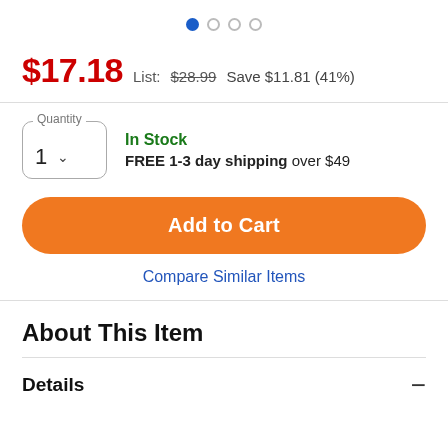[Figure (other): Carousel pagination dots: one filled blue dot followed by three empty circle dots]
$17.18  List: $28.99  Save $11.81 (41%)
In Stock
FREE 1-3 day shipping over $49
Add to Cart
Compare Similar Items
About This Item
Details